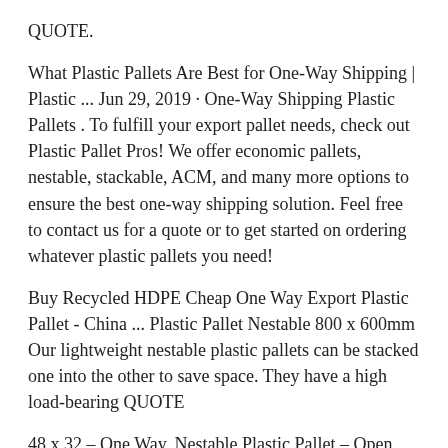QUOTE.
What Plastic Pallets Are Best for One-Way Shipping | Plastic ... Jun 29, 2019 · One-Way Shipping Plastic Pallets . To fulfill your export pallet needs, check out Plastic Pallet Pros! We offer economic pallets, nestable, stackable, ACM, and many more options to ensure the best one-way shipping solution. Feel free to contact us for a quote or to get started on ordering whatever plastic pallets you need!
Buy Recycled HDPE Cheap One Way Export Plastic Pallet - China ... Plastic Pallet Nestable 800 x 600mm Our lightweight nestable plastic pallets can be stacked one into the other to save space. They have a high load-bearing QUOTE
48 x 32 – One Way, Nestable Plastic Pallet – Open Deck
    48 x 32 – One Way, Nestable Plastic Pallet – Open